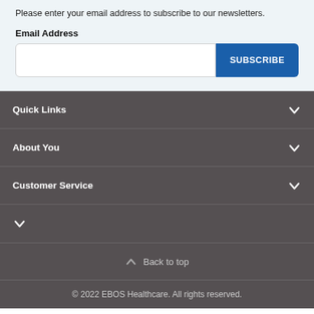Please enter your email address to subscribe to our newsletters.
Email Address
[Figure (screenshot): Email input field and SUBSCRIBE button]
Quick Links
About You
Customer Service
∨
Back to top
© 2022 EBOS Healthcare. All rights reserved.